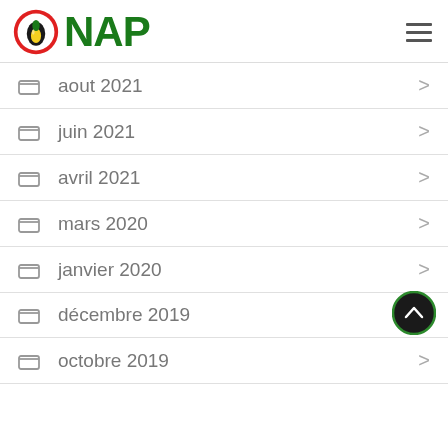ONAP
aout 2021
juin 2021
avril 2021
mars 2020
janvier 2020
décembre 2019
octobre 2019